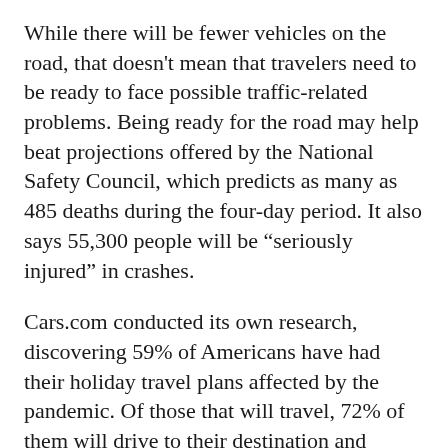While there will be fewer vehicles on the road, that doesn't mean that travelers need to be ready to face possible traffic-related problems. Being ready for the road may help beat projections offered by the National Safety Council, which predicts as many as 485 deaths during the four-day period. It also says 55,300 people will be “seriously injured” in crashes.
Cars.com conducted its own research, discovering 59% of Americans have had their holiday travel plans affected by the pandemic. Of those that will travel, 72% of them will drive to their destination and they’re not going too far: less than 100 miles.
“We’ve been watching consumer travel habits since the onset of the pandemic, and there have been two consistent themes — the pandemic is obviously affecting people’s travel plans, but when people do travel, the majority drive by car because of the safety and freedom cars provide. We are seeing these themes